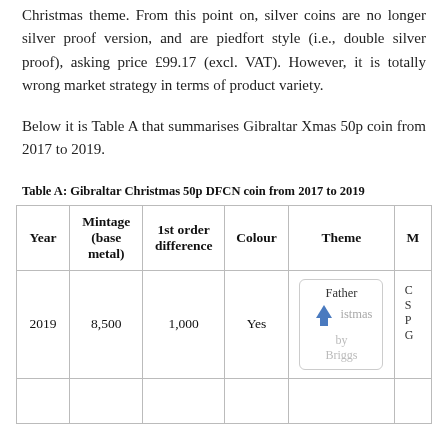Christmas theme. From this point on, silver coins are no longer silver proof version, and are piedfort style (i.e., double silver proof), asking price £99.17 (excl. VAT). However, it is totally wrong market strategy in terms of product variety.
Below it is Table A that summarises Gibraltar Xmas 50p coin from 2017 to 2019.
Table A: Gibraltar Christmas 50p DFCN coin from 2017 to 2019
| Year | Mintage (base metal) | 1st order difference | Colour | Theme | M... |
| --- | --- | --- | --- | --- | --- |
| 2019 | 8,500 | 1,000 | Yes | Father Christmas by Briggs | C S P G |